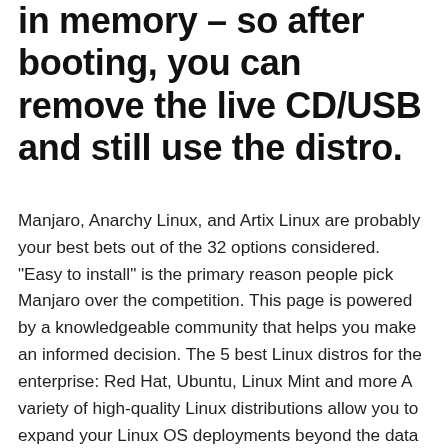in memory – so after booting, you can remove the live CD/USB and still use the distro.
Manjaro, Anarchy Linux, and Artix Linux are probably your best bets out of the 32 options considered. "Easy to install" is the primary reason people pick Manjaro over the competition. This page is powered by a knowledgeable community that helps you make an informed decision. The 5 best Linux distros for the enterprise: Red Hat, Ubuntu, Linux Mint and more A variety of high-quality Linux distributions allow you to expand your Linux OS deployments beyond the data center. Although Windows and OS X remain popular, Linux distros offer uncompromising flexibility. For starters, most Linux distros are free. Accordingly, there's an excellent value. Many system administrators prefer Linux because of security & permissions. From well-known distros like Ubuntu to niche releases such as Kali Linux, there's a ton of choice.